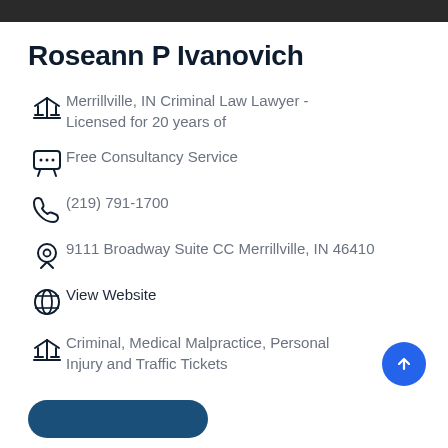Roseann P Ivanovich
Merrillville, IN Criminal Law Lawyer - Licensed for 20 years of
Free Consultancy Service
(219) 791-1700
9111 Broadway Suite CC Merrillville, IN 46410
View Website
Criminal, Medical Malpractice, Personal Injury and Traffic Tickets